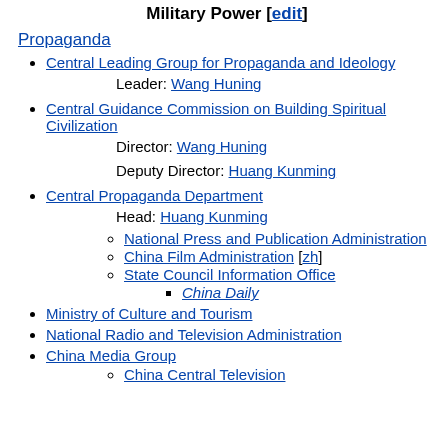Military Power [edit]
Propaganda
Central Leading Group for Propaganda and Ideology
Leader: Wang Huning
Central Guidance Commission on Building Spiritual Civilization
Director: Wang Huning
Deputy Director: Huang Kunming
Central Propaganda Department
Head: Huang Kunming
National Press and Publication Administration
China Film Administration [zh]
State Council Information Office
China Daily
Ministry of Culture and Tourism
National Radio and Television Administration
China Media Group
China Central Television